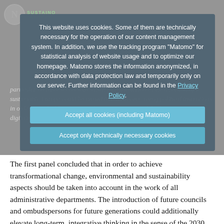This website uses cookies. Some of them are technically necessary for the operation of our content management system. In addition, we use the tracking program "Matomo" for statistical analysis of website usage and to optimize our homepage. Matomo stores the information anonymized, in accordance with data protection law and temporarily only on our server. Further information can be found in the Privacy Policy.
Accept all cookies (including Matomo)
Accept only technically necessary cookies
particular on three levels with which transformation in the direction of a sustainable Europe could be turned into a success: using political institutions in order to embed long-term and sustainable ways of thinking, using digitalisation and sustainable finance sector.
The first panel concluded that in order to achieve transformational change, environmental and sustainability aspects should be taken into account in the work of all administrative departments. The introduction of future councils and ombudspersons for future generations could additionally elevate long-term, integrative thinking in the sense of the 2030 Agenda throughout institutions.